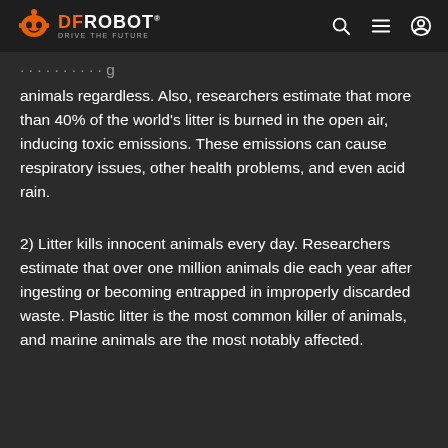DFROBOT DRIVE THE FUTURE
animals regardless. Also, researchers estimate that more than 40% of the world's litter is burned in the open air, inducing toxic emissions. These emissions can cause respiratory issues, other health problems, and even acid rain.
2) Litter kills innocent animals every day. Researchers estimate that over one million animals die each year after ingesting or becoming entrapped in improperly discarded waste. Plastic litter is the most common killer of animals, and marine animals are the most notably affected.